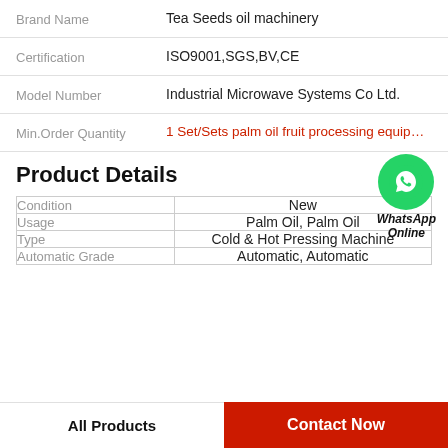| Field | Value |
| --- | --- |
| Brand Name | Tea Seeds oil machinery |
| Certification | ISO9001,SGS,BV,CE |
| Model Number | Industrial Microwave Systems Co Ltd. |
| Min.Order Quantity | 1 Set/Sets palm oil fruit processing equip… |
Product Details
[Figure (logo): WhatsApp Online green circle phone icon with text WhatsApp Online]
| Field | Value |
| --- | --- |
| Condition | New |
| Usage | Palm Oil, Palm Oil |
| Type | Cold & Hot Pressing Machine |
| Automatic Grade | Automatic, Automatic |
All Products
Contact Now